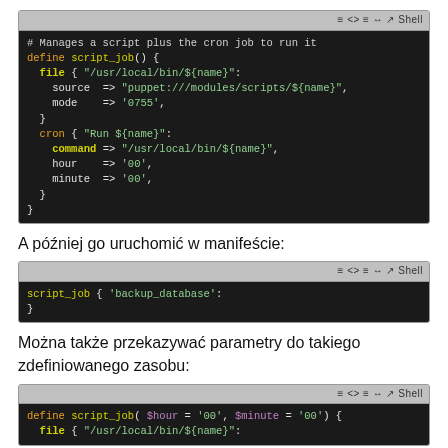[Figure (screenshot): Shell code block showing define script_job() with file and cron resource definitions in Puppet DSL syntax]
A później go uruchomić w manifeście:
[Figure (screenshot): Shell code block showing script_job { 'backup_database': }]
Można także przekazywać parametry do takiego zdefiniowanego zasobu:
[Figure (screenshot): Shell code block showing define script_job( $hour = '00', $minute = '00' ) { file { "/usr/local/bin/${name}":]